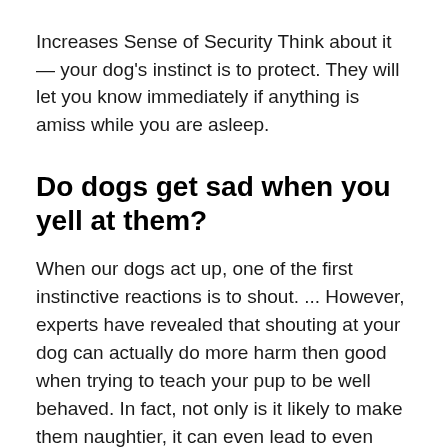Increases Sense of Security Think about it — your dog's instinct is to protect. They will let you know immediately if anything is amiss while you are asleep.
Do dogs get sad when you yell at them?
When our dogs act up, one of the first instinctive reactions is to shout. ... However, experts have revealed that shouting at your dog can actually do more harm then good when trying to teach your pup to be well behaved. In fact, not only is it likely to make them naughtier, it can even lead to even stress and depression.